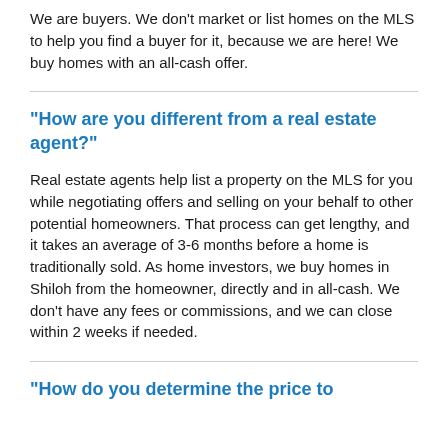We are buyers. We don't market or list homes on the MLS to help you find a buyer for it, because we are here! We buy homes with an all-cash offer.
"How are you different from a real estate agent?"
Real estate agents help list a property on the MLS for you while negotiating offers and selling on your behalf to other potential homeowners. That process can get lengthy, and it takes an average of 3-6 months before a home is traditionally sold. As home investors, we buy homes in Shiloh from the homeowner, directly and in all-cash. We don't have any fees or commissions, and we can close within 2 weeks if needed.
"How do you determine the price to